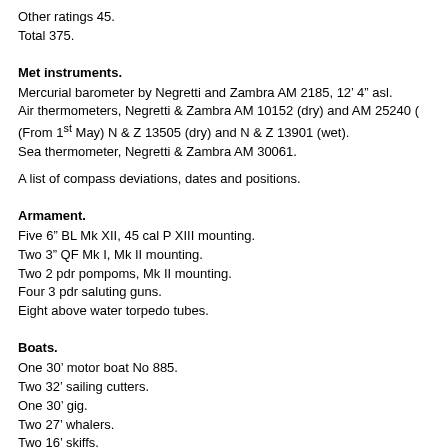Other ratings 45.
Total 375.
Met instruments.
Mercurial barometer by Negretti and Zambra AM 2185, 12’ 4” asl.
Air thermometers, Negretti & Zambra AM 10152 (dry) and AM 25240 (
(From 1st May) N & Z 13505 (dry) and N & Z 13901 (wet).
Sea thermometer, Negretti & Zambra AM 30061.
A list of compass deviations, dates and positions.
Armament.
Five 6” BL Mk XII, 45 cal P XIII mounting.
Two 3” QF Mk I, Mk II mounting.
Two 2 pdr pompoms, Mk II mounting.
Four 3 pdr saluting guns.
Eight above water torpedo tubes.
Boats.
One 30’ motor boat No 885.
Two 32’ sailing cutters.
One 30’ gig.
Two 27’ whalers.
Two 16’ skiffs.
Two size 17 life floats.
Four size 19 life floats.
Max draught 16’ for’d, 16’ 6” aft.
Bunkers.